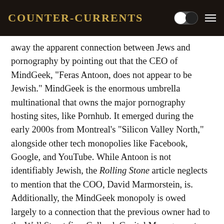Counter-Currents
away the apparent connection between Jews and pornography by pointing out that the CEO of MindGeek, “Feras Antoon, does not appear to be Jewish.” MindGeek is the enormous umbrella multinational that owns the major pornography hosting sites, like Pornhub. It emerged during the early 2000s from Montreal’s “Silicon Valley North,” alongside other tech monopolies like Facebook, Google, and YouTube. While Antoon is not identifiably Jewish, the Rolling Stone article neglects to mention that the COO, David Marmorstein, is. Additionally, the MindGeek monopoly is owed largely to a connection that the previous owner had to the Wall Street firm Colbeck Capital Management — run by former Goldman Sachs executives — which gave the company a $362 million loan in 2011. If Colbeck Management’s senior executives, Jason Colodne and Jason Beckman, are not Jewish, they have serious